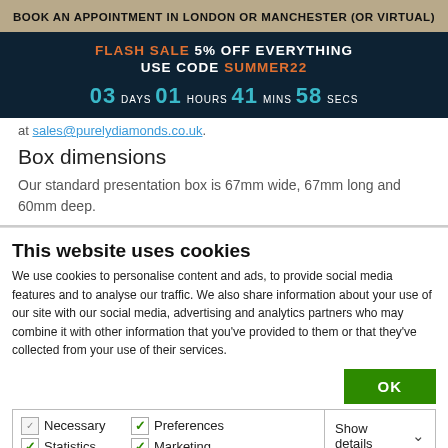BOOK AN APPOINTMENT IN LONDON OR MANCHESTER (OR VIRTUAL)
[Figure (infographic): Flash sale countdown banner: FLASH SALE 5% OFF EVERYTHING USE CODE SUMMER22, countdown 03 DAYS 01 HOURS 41 MINS 58 SECS on dark navy background]
at sales@purelydiamonds.co.uk.
Box dimensions
Our standard presentation box is 67mm wide, 67mm long and 60mm deep.
This website uses cookies
We use cookies to personalise content and ads, to provide social media features and to analyse our traffic. We also share information about your use of our site with our social media, advertising and analytics partners who may combine it with other information that you've provided to them or that they've collected from your use of their services.